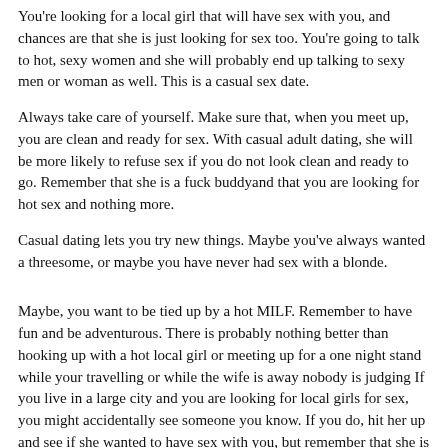You're looking for a local girl that will have sex with you, and chances are that she is just looking for sex too. You're going to talk to hot, sexy women and she will probably end up talking to sexy men or woman as well. This is a casual sex date.
Always take care of yourself. Make sure that, when you meet up, you are clean and ready for sex. With casual adult dating, she will be more likely to refuse sex if you do not look clean and ready to go. Remember that she is a fuck buddyand that you are looking for hot sex and nothing more.
Casual dating lets you try new things. Maybe you've always wanted a threesome, or maybe you have never had sex with a blonde.
Maybe, you want to be tied up by a hot MILF. Remember to have fun and be adventurous. There is probably nothing better than hooking up with a hot local girl or meeting up for a one night stand while your travelling or while the wife is away nobody is judging If you live in a large city and you are looking for local girls for sex, you might accidentally see someone you know. If you do, hit her up and see if she wanted to have sex with you, but remember that she is local and you might have the same friends or know the same people.